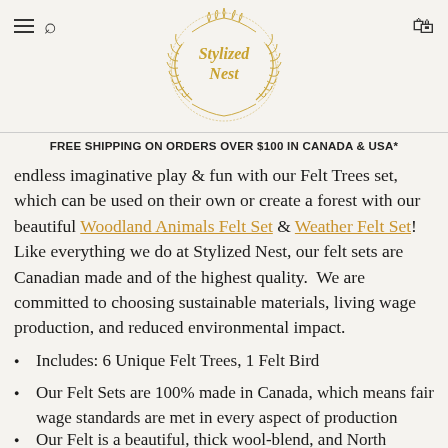Stylized Nest — navigation header with hamburger, search, and cart icons
[Figure (logo): Stylized Nest logo: gold circular wreath with italic serif text 'Stylized Nest' in gold inside]
FREE SHIPPING ON ORDERS OVER $100 IN CANADA & USA*
endless imaginative play & fun with our Felt Trees set, which can be used on their own or create a forest with our beautiful Woodland Animals Felt Set & Weather Felt Set!  Like everything we do at Stylized Nest, our felt sets are Canadian made and of the highest quality.  We are committed to choosing sustainable materials, living wage production, and reduced environmental impact.
Includes: 6 Unique Felt Trees, 1 Felt Bird
Our Felt Sets are 100% made in Canada, which means fair wage standards are met in every aspect of production
Our Felt is a beautiful, thick wool-blend, and North American